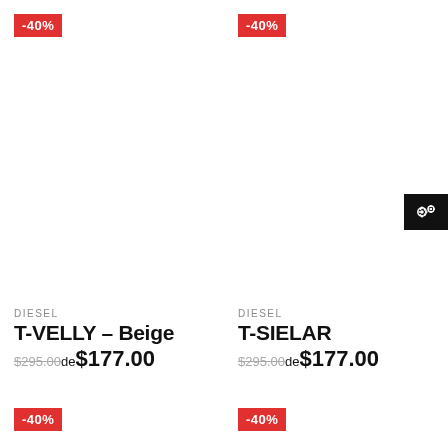-40%
[Figure (photo): Product image area for T-VELLY Beige (white/empty)]
-40%
[Figure (photo): Product image area for T-SIELAR (white/empty)]
DIESEL
T-VELLY – Beige
$295.00de $177.00
DIESEL
T-SIELAR
$295.00de $177.00
-40%
-40%